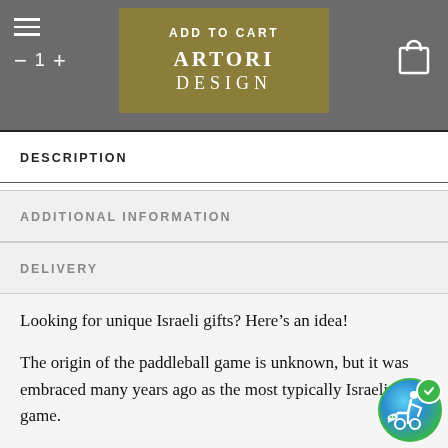Artori Design — Navigation header with hamburger menu, quantity control, ADD TO CART button, and shopping bag icon
DESCRIPTION
ADDITIONAL INFORMATION
DELIVERY
Looking for unique Israeli gifts? Here's an idea!
The origin of the paddleball game is unknown, but it was embraced many years ago as the most typically Israeli game.
The game is primarily played on the beach, mostly during the summer months, by two players who hit a flexible rubber ball with